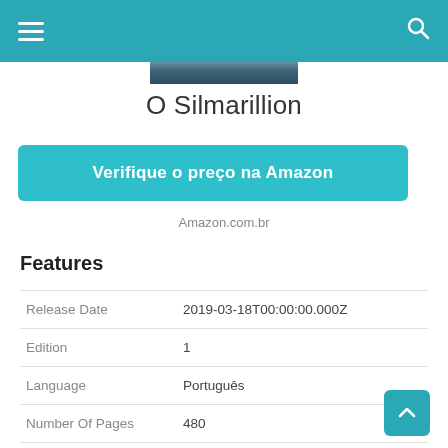O Silmarillion — mobile web product page header with hamburger menu and search icon
O Silmarillion
Verifique o preço na Amazon
Amazon.com.br
Features
| Feature | Value |
| --- | --- |
| Release Date | 2019-03-18T00:00:00.000Z |
| Edition | 1 |
| Language | Português |
| Number Of Pages | 480 |
| Publication Date | 2019-03-18T00:00:00.000Z |
| Format | eBook Kindle |